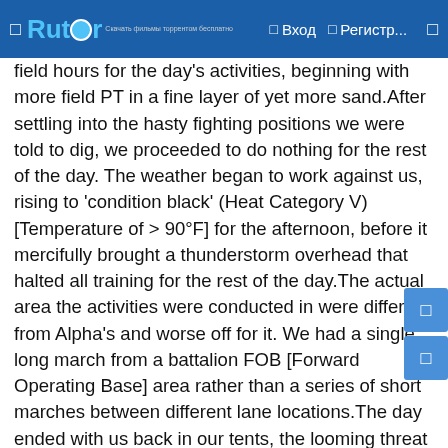Rutor | Вход | Регистр...
field hours for the day's activities, beginning with more field PT in a fine layer of yet more sand.After settling into the hasty fighting positions we were told to dig, we proceeded to do nothing for the rest of the day. The weather began to work against us, rising to 'condition black' (Heat Category V) [Temperature of > 90°F] for the afternoon, before it mercifully brought a thunderstorm overhead that halted all training for the rest of the day.The actual area the activities were conducted in were different from Alpha's and worse off for it. We had a single long march from a battalion FOB [Forward Operating Base] area rather than a series of short marches between different lane locations.The day ended with us back in our tents, the looming threat of thunder and rain hovering above.Day 277We were up at 4:00 AM again, but no field PT this morning.The day was spent running a long 'react to contact' drill, as well as a medical lane drill.We ended the day with preparation for an early exit strategy to help get us ready for leaving tomorrow. They've promised us a repeat march back to the FOB zone.I'm exhausted and my cough is worse. The weather heating up